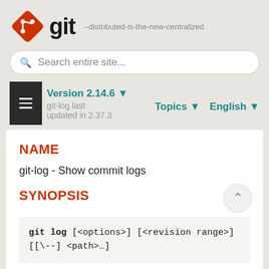[Figure (logo): Git logo: red diamond with git icon and bold 'git' text, with tagline '--distributed-is-the-new-centralized']
Search entire site...
Version 2.14.6 ▼   git-log last updated in 2.37.3   Topics ▼   English ▼
NAME
git-log - Show commit logs
SYNOPSIS
git log [<options>] [<revision range>] [[\--] <path>…]